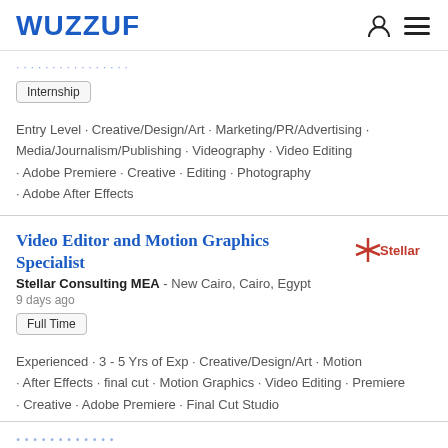WUZZUF
Internship
Entry Level · Creative/Design/Art · Marketing/PR/Advertising · Media/Journalism/Publishing · Videography · Video Editing · Adobe Premiere · Creative · Editing · Photography · Adobe After Effects
Video Editor and Motion Graphics Specialist
Stellar Consulting MEA - New Cairo, Cairo, Egypt
9 days ago
Full Time
Experienced · 3 - 5 Yrs of Exp · Creative/Design/Art · Motion · After Effects · final cut · Motion Graphics · Video Editing · Premiere · Creative · Adobe Premiere · Final Cut Studio